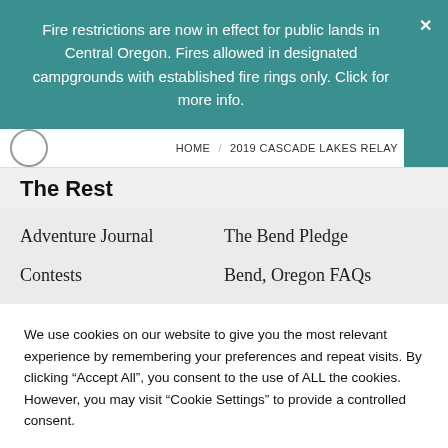Fire restrictions are now in effect for public lands in Central Oregon. Fires allowed in designated campgrounds with established fire rings only. Click for more info.
HOME / 2019 CASCADE LAKES RELAY
The Rest
Adventure Journal
The Bend Pledge
Contests
Bend, Oregon FAQs
We use cookies on our website to give you the most relevant experience by remembering your preferences and repeat visits. By clicking “Accept All”, you consent to the use of ALL the cookies. However, you may visit “Cookie Settings” to provide a controlled consent.